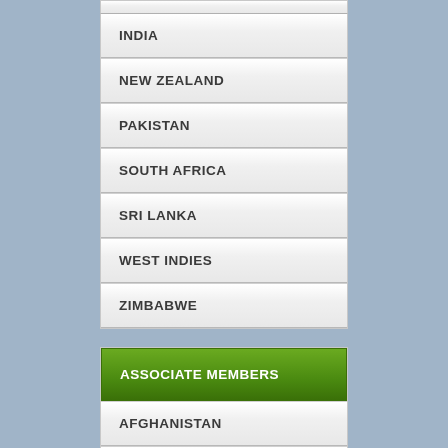INDIA
NEW ZEALAND
PAKISTAN
SOUTH AFRICA
SRI LANKA
WEST INDIES
ZIMBABWE
ASSOCIATE MEMBERS
AFGHANISTAN